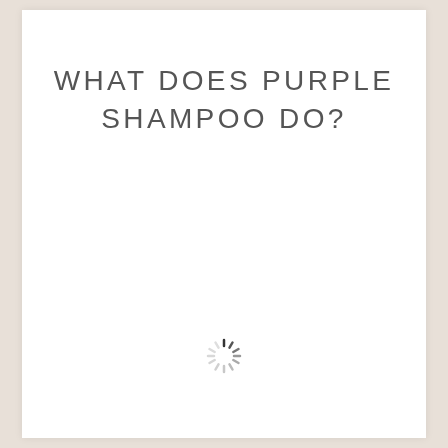WHAT DOES PURPLE SHAMPOO DO?
[Figure (other): A loading spinner icon — a circular arrangement of short radial dashes fading from dark to light, indicating content is loading.]